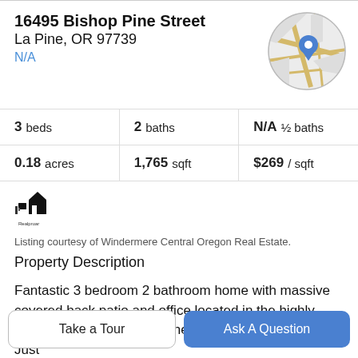16495 Bishop Pine Street
La Pine, OR 97739
N/A
[Figure (map): Circular map thumbnail with a blue location pin marker]
3 beds  |  2 baths  |  N/A ½ baths
0.18 acres  |  1,765 sqft  |  $269 / sqft
[Figure (logo): Small black house/neighborhood icon with 'Realproar' text below]
Listing courtesy of Windermere Central Oregon Real Estate.
Property Description
Fantastic 3 bedroom 2 bathroom home with massive covered back patio and office located in the highly desirable neighborhood "The Reserve In The pines". Just
Take a Tour
Ask A Question